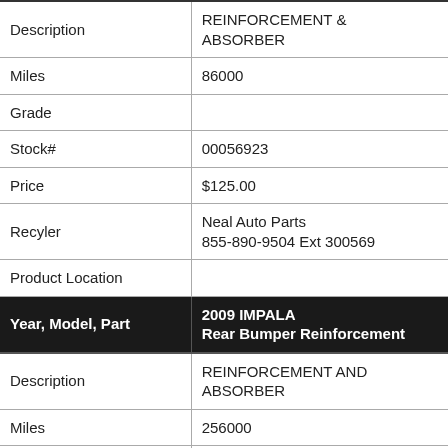| Field | Value |
| --- | --- |
| Description | REINFORCEMENT & ABSORBER |
| Miles | 86000 |
| Grade |  |
| Stock# | 00056923 |
| Price | $125.00 |
| Recyler | Neal Auto Parts
855-890-9504 Ext 300569 |
| Product Location |  |
| Year, Model, Part | 2009 IMPALA
Rear Bumper Reinforcement |
| Description | REINFORCEMENT AND ABSORBER |
| Miles | 256000 |
| Grade |  |
| Stock# | 00056881 |